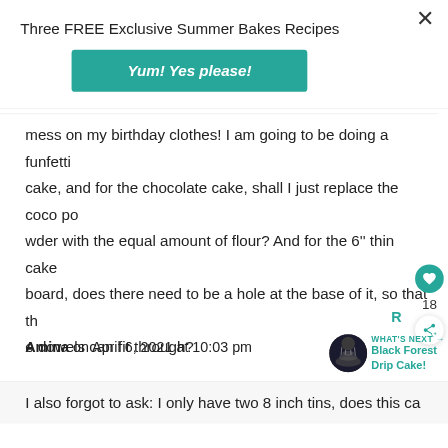Three FREE Exclusive Summer Bakes Recipes
Yum! Yes please!
mess on my birthday clothes! I am going to be doing a funfetti cake, and for the chocolate cake, shall I just replace the coco powder with the equal amount of flour? And for the 6'' thin cake board, does there need to be a hole at the base of it, so that the dowels can fit through?
Thank you!
18
R
Amina on April 6, 2021 at 10:03 pm
WHAT'S NEXT → Black Forest Drip Cake!
I also forgot to ask: I only have two 8 inch tins, does this ca